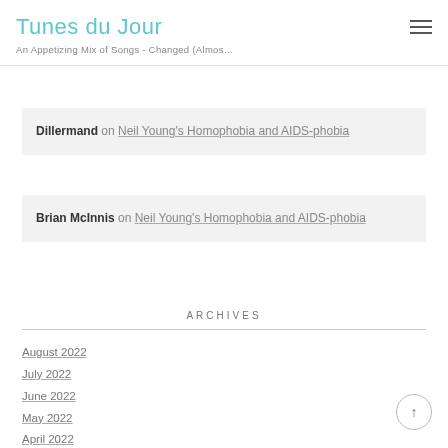Tunes du Jour — An Appetizing Mix of Songs - Changed (Almos…
Dillermand on Neil Young's Homophobia and AIDS-phobia
Brian McInnis on Neil Young's Homophobia and AIDS-phobia
ARCHIVES
August 2022
July 2022
June 2022
May 2022
April 2022
March 2022